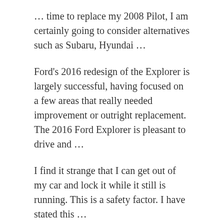… time to replace my 2008 Pilot, I am certainly going to consider alternatives such as Subaru, Hyundai …
Ford's 2016 redesign of the Explorer is largely successful, having focused on a few areas that really needed improvement or outright replacement. The 2016 Ford Explorer is pleasant to drive and …
I find it strange that I can get out of my car and lock it while it still is running. This is a safety factor. I have stated this …
Best reviewed windshield replacement This is my review – couldn't find … I was amazed to find just that at Safelite Autoglass in Lewisville, TX. I had a bit of anxiety that the cracked windshield on my